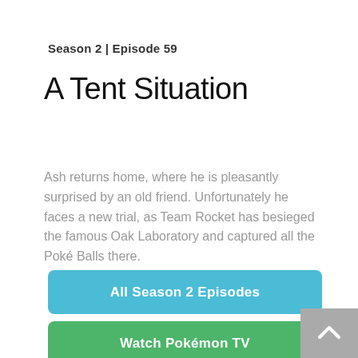Season 2 | Episode 59
A Tent Situation
Ash returns home, where he is pleasantly surprised by an old friend. Unfortunately he faces a new trial, as Team Rocket has besieged the famous Oak Laboratory and captured all the Poké Balls there.
All Season 2 Episodes
Watch Pokémon TV